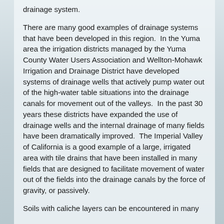drainage system.
There are many good examples of drainage systems that have been developed in this region. In the Yuma area the irrigation districts managed by the Yuma County Water Users Association and Wellton-Mohawk Irrigation and Drainage District have developed systems of drainage wells that actively pump water out of the high-water table situations into the drainage canals for movement out of the valleys. In the past 30 years these districts have expanded the use of drainage wells and the internal drainage of many fields have been dramatically improved. The Imperial Valley of California is a good example of a large, irrigated area with tile drains that have been installed in many fields that are designed to facilitate movement of water out of the fields into the drainage canals by the force of gravity, or passively.
Soils with caliche layers can be encountered in many